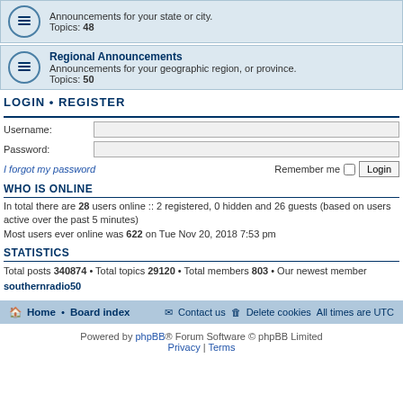[Figure (screenshot): Forum row with icon showing announcements for your state or city, Topics: 48]
[Figure (screenshot): Regional Announcements forum row with icon, Topics: 50]
LOGIN • REGISTER
Username:
Password:
I forgot my password
Remember me  Login
WHO IS ONLINE
In total there are 28 users online :: 2 registered, 0 hidden and 26 guests (based on users active over the past 5 minutes)
Most users ever online was 622 on Tue Nov 20, 2018 7:53 pm
STATISTICS
Total posts 340874 • Total topics 29120 • Total members 803 • Our newest member southernradio50
Home · Board index   Contact us   Delete cookies   All times are UTC
Powered by phpBB® Forum Software © phpBB Limited
Privacy | Terms